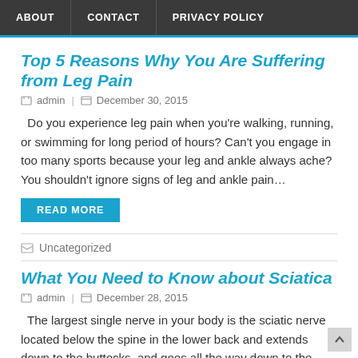ABOUT | CONTACT | PRIVACY POLICY
Top 5 Reasons Why You Are Suffering from Leg Pain
admin | December 30, 2015
Do you experience leg pain when you're walking, running, or swimming for long period of hours? Can't you engage in too many sports because your leg and ankle always ache? You shouldn't ignore signs of leg and ankle pain…
READ MORE
Uncategorized
What You Need to Know about Sciatica
admin | December 28, 2015
The largest single nerve in your body is the sciatic nerve located below the spine in the lower back and extends down to the buttocks, and goes all the way down to the back of each leg.